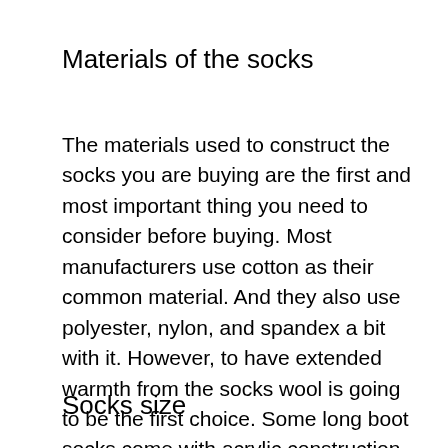Materials of the socks
The materials used to construct the socks you are buying are the first and most important thing you need to consider before buying. Most manufacturers use cotton as their common material. And they also use polyester, nylon, and spandex a bit with it. However, to have extended warmth from the socks wool is going to be the first choice. Some long boot socks come with acrylic construction.
Socks size